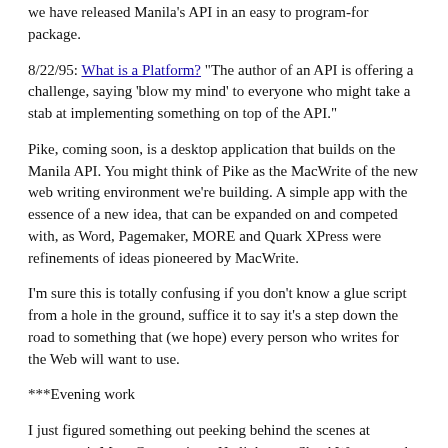we have released Manila's API in an easy to program-for package.
8/22/95: What is a Platform? "The author of an API is offering a challenge, saying 'blow my mind' to everyone who might take a stab at implementing something on top of the API."
Pike, coming soon, is a desktop application that builds on the Manila API. You might think of Pike as the MacWrite of the new web writing environment we're building. A simple app with the essence of a new idea, that can be expanded on and competed with, as Word, Pagemaker, MORE and Quark XPress were refinements of ideas pioneered by MacWrite.
I'm sure this is totally confusing if you don't know a glue script from a hole in the ground, suffice it to say it's a step down the road to something that (we hope) every person who writes for the Web will want to use.
***Evening work
I just figured something out peeking behind the scenes at tomorrow's Marc Canter piece. He links to a ShockWave page by Stuart Sharpe. I sat there clicking on things, and